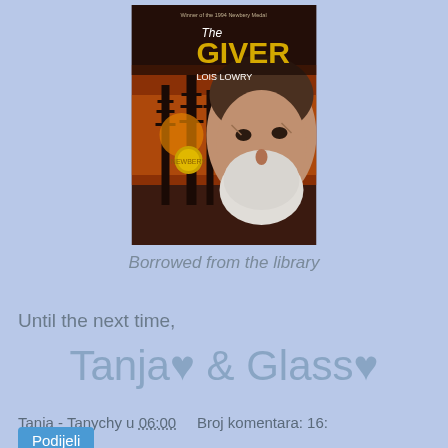[Figure (photo): Book cover of 'The Giver' by Lois Lowry, showing an elderly bearded man's face with trees and sunset in the background, with a gold Newbery Medal sticker]
Borrowed from the library
Until the next time,
Tanja♥ & Glass♥
Tanja - Tanychy u 06:00    Broj komentara: 16:
Podijeli